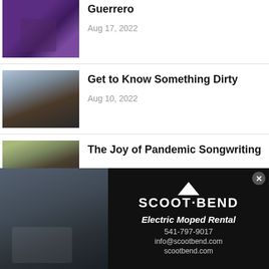[Figure (photo): Musician playing electric guitar on stage with purple lighting]
Guerrero
Aug 17, 2022
[Figure (photo): Two men standing together, one holding a guitar, in front of a brick wall]
Get to Know Something Dirty
Aug 10, 2022
[Figure (photo): Three people standing outdoors with trees in background]
The Joy of Pandemic Songwriting
[Figure (photo): Person on moped/scooter next to blue electric moped outdoors]
SCOOT·BEND
Electric Moped Rental
541-797-9017
info@scootbend.com
scootbend.com